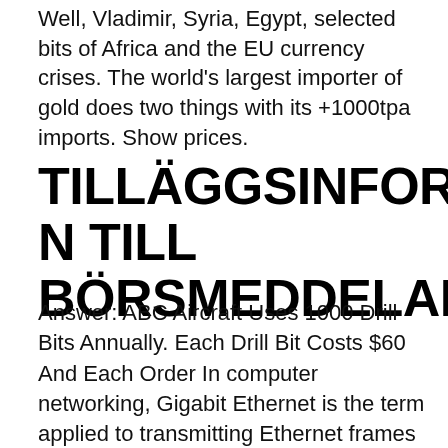Well, Vladimir, Syria, Egypt, selected bits of Africa and the EU currency crises. The world's largest importer of gold does two things with its +1000tpa imports. Show prices.
TILLÄGGSINFORMATION TILL BÖRSMEDDELANDET
Answer: ABC Aircraft Uses 1000 Drill Bits Annually. Each Drill Bit Costs $60 And Each Order In computer networking, Gigabit Ethernet is the term applied to transmitting Ethernet frames at a rate of a gigabit per second. The most popular variant 1000BASE-T is defined by the IEEE 802.3ab